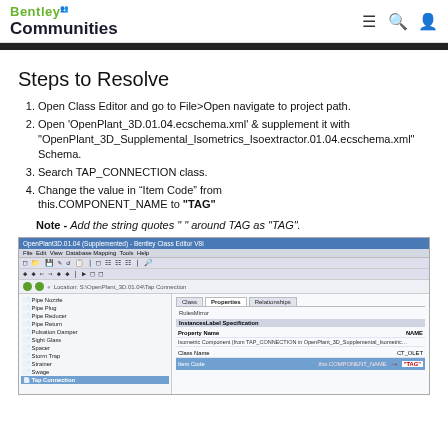Bentley Communities
Steps to Resolve
Open Class Editor and go to File>Open navigate to project path.
Open 'OpenPlant_3D.01.04.ecschema.xml' & supplement it with "OpenPlant_3D_Supplemental_Isometrics_Isoextractor.01.04.ecschema.xml" Schema.
Search TAP_CONNECTION class.
Change the value in “Item Code” from this.COMPONENT_NAME to “TAG”
Note - Add the string quotes " " around TAG as "TAG".
[Figure (screenshot): Bentley Class Editor screenshot showing OpenPlant_3D.01.04 (Supplemented) with TAP_CONNECTION class selected. The right panel shows Properties tab with InstancesLabel Specification section. A row is highlighted in blue showing value 'this.COMPONENT_NAME' with a red arrow pointing to '"TAG"'.]